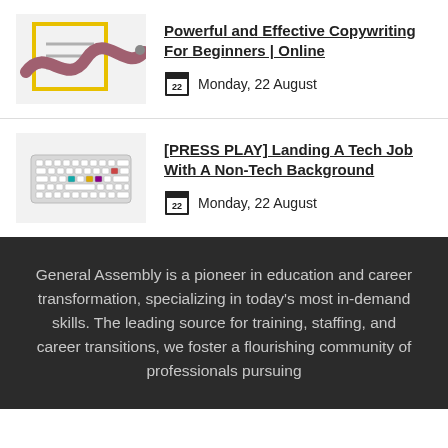[Figure (illustration): Illustration of a document/writing with a yellow border and a wavy pen/brush stroke in mauve/pink color]
Powerful and Effective Copywriting For Beginners | Online
Monday, 22 August
[Figure (illustration): Illustration of a keyboard/computer keyboard with colorful keys]
[PRESS PLAY] Landing A Tech Job With A Non-Tech Background
Monday, 22 August
General Assembly is a pioneer in education and career transformation, specializing in today's most in-demand skills. The leading source for training, staffing, and career transitions, we foster a flourishing community of professionals pursuing